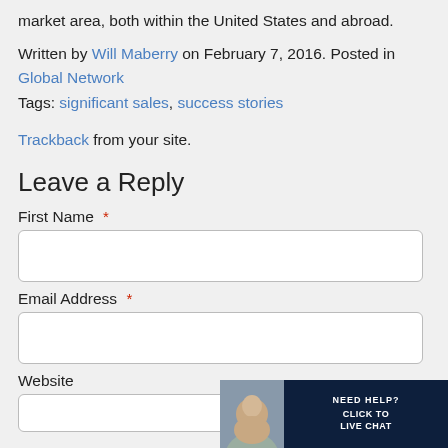market area, both within the United States and abroad.
Written by Will Maberry on February 7, 2016. Posted in Global Network
Tags: significant sales, success stories
Trackback from your site.
Leave a Reply
First Name *
Email Address *
Website
[Figure (screenshot): Live chat widget with avatar photo, text reading NEED HELP? CLICK TO LIVE CHAT on dark navy background]